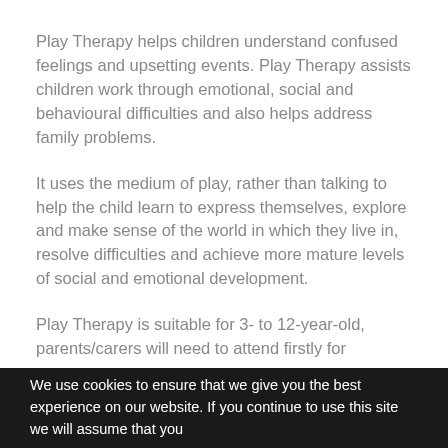Play Therapy helps children understand confused feelings and upsetting events. Play Therapy assists children work through emotional, social and behavioural difficulties and also helps address family problems.
It uses the medium of play, rather than talking to help the child learn to express themselves, explore and make sense of the world in which they live in, resolve difficulties and achieve more mature levels of social and emotional development.
Play Therapy is suitable for 3- to 12-year-old, parents/carers will need to attend firstly for
We use cookies to ensure that we give you the best experience on our website. If you continue to use this site we will assume that you